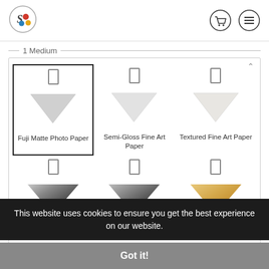[Figure (logo): Circular logo with stylized S and colored dots (red, blue, yellow)]
1 Medium
[Figure (screenshot): Grid of 6 print medium options: Fuji Matte Photo Paper (selected), Semi-Gloss Fine Art Paper, Textured Fine Art Paper, Satin MetalPrint, Sheer Matte MetalPrint, Wood Print - White Finish. Each has a triangle material preview and a pin indicator.]
Fuji Matte Photo Paper
Semi-Gloss Fine Art Paper
Textured Fine Art Paper
Satin MetalPrint
Sheer Matte MetalPrint
Wood Print - White Finish
This website uses cookies to ensure you get the best experience on our website.
Got it!